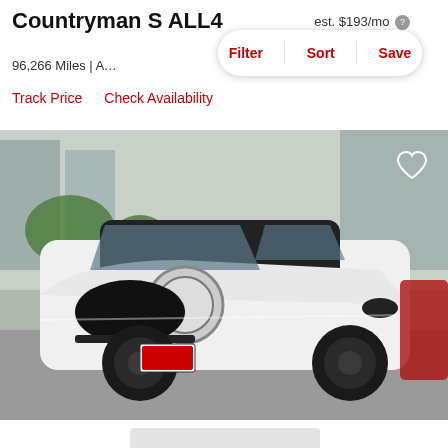Countryman S ALL4
est. $193/mo
96,266 Miles | A...
Filter  Sort  Save
Track Price   Check Availability
[Figure (photo): White MINI Cooper Countryman S ALL4 parked in a dealership lot, front three-quarter view, black wheels and roof, dealership building visible in background]
[Figure (photo): Partial view of a second vehicle listing card, light gray placeholder]